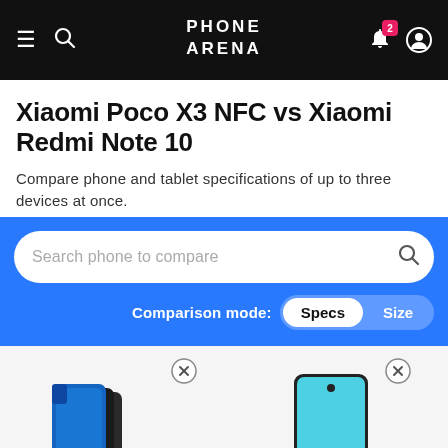PhoneArena – navigation header with logo, search, notifications, and account icons
Xiaomi Poco X3 NFC vs Xiaomi Redmi Note 10
Compare phone and tablet specifications of up to three devices at once.
Search phone to compare
Comparison mode: Specs | Size
[Figure (screenshot): Two smartphones shown side by side at the bottom: Xiaomi Poco X3 NFC on the left and Xiaomi Redmi Note 10 on the right, each with a close (×) button above them]